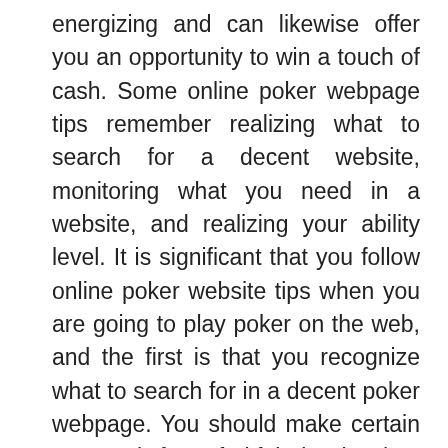energizing and can likewise offer you an opportunity to win a touch of cash. Some online poker webpage tips remember realizing what to search for a decent website, monitoring what you need in a website, and realizing your ability level. It is significant that you follow online poker website tips when you are going to play poker on the web, and the first is that you recognize what to search for in a decent poker webpage. You should make certain to search for a fruitful site that has many fulfilled players. You ought to likewise search for a site that offers expenses that are sensible or no charges by any stretch of the imagination. You ought to recall that normally in the event that you pay no charge you will presumably not have the option to win any cash. Additionally make certain to investigate the standards when you join a site to be certain you can maintain them.